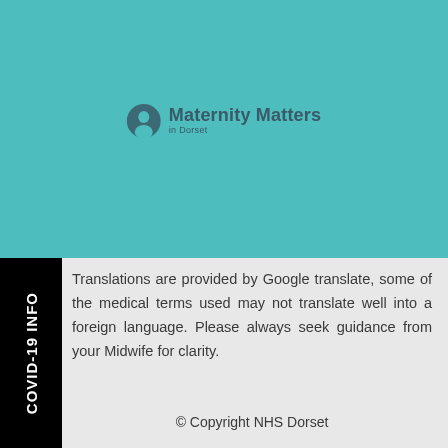[Figure (logo): Maternity Matters in Dorset logo with person icon on teal background]
Translations are provided by Google translate, some of the medical terms used may not translate well into a foreign language. Please always seek guidance from your Midwife for clarity.
© Copyright NHS Dorset
COVID-19 INFO